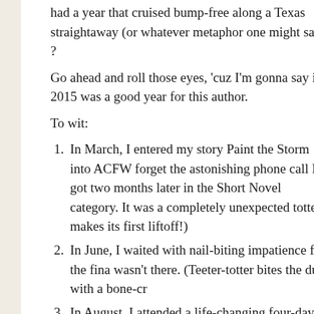had a year that cruised bump-free along a Texas straightaway (or whatever metaphor one might say) ?
Go ahead and roll those eyes, 'cuz I'm gonna say it: 2015 was a good year for this author.
To wit:
In March, I entered my story Paint the Storm into ACFW... forget the astonishing phone call I got two months later in the Short Novel category. It was a completely unexpected... totter makes its first liftoff!)
In June, I waited with nail-biting impatience for the fina... wasn't there. (Teeter-totter bites the dust with a bone-cr...
In August, I attended a life-changing four-day summer... about it here, here, and here. On top of all that, an agent... Secrets. (Seesaw launches.)
But then, the agent decided the manuscript wasn't a goo... she didn't slam the door in my face. (Seesaw sags towa...
In October, two wonderful things happened: I republish...